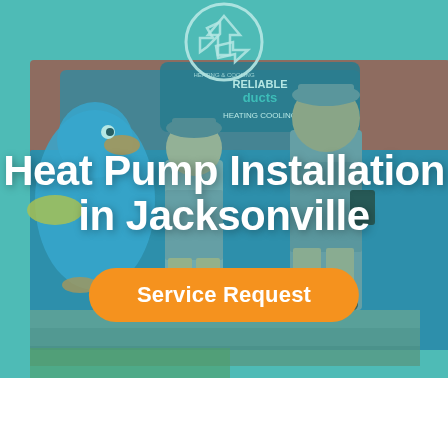[Figure (photo): Hero banner photo of two HVAC technicians in grey shirts and caps standing in front of a branded Reliable Ducts Heating & Cooling van with a cartoon duck logo. A teal/green color overlay covers the image. Bold white text reads 'Heat Pump Installation in Jacksonville' with an orange rounded 'Service Request' button below.]
Heat Pump Installation in Jacksonville
Service Request